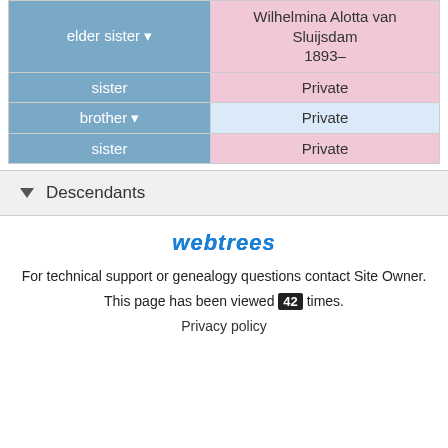| Relationship | Name |
| --- | --- |
| elder sister ▾ | Wilhelmina Alotta van Sluijsdam
1893– |
| sister | Private |
| brother ▾ | Private |
| sister | Private |
▾ Descendants
[Figure (logo): webtrees logo in blue italic bold text]
For technical support or genealogy questions contact Site Owner.
This page has been viewed 42 times.
Privacy policy